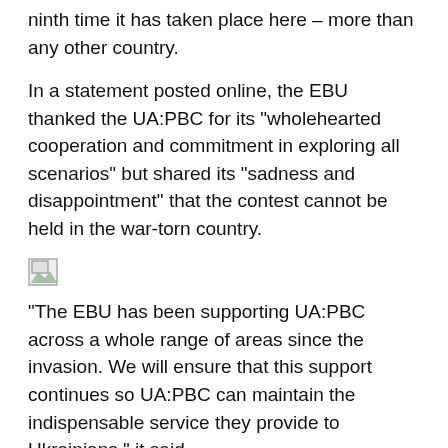ninth time it has taken place here – more than any other country.
In a statement posted online, the EBU thanked the UA:PBC for its "wholehearted cooperation and commitment in exploring all scenarios" but shared its "sadness and disappointment" that the contest cannot be held in the war-torn country.
[Figure (photo): Broken image placeholder]
"The EBU has been supporting UA:PBC across a whole range of areas since the invasion. We will ensure that this support continues so UA:PBC can maintain the indispensable service they provide to Ukrainians," it said.
"As a result of this decision, in accordance with the rules and to ensure the continuity of the event, the EBU will now begin discussions with the BBC, as this week...